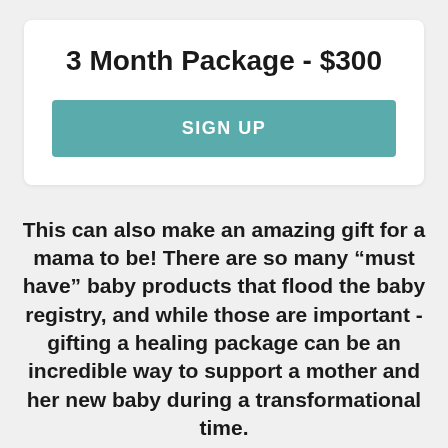3 Month Package - $300
[Figure (other): Teal SIGN UP button]
This can also make an amazing gift for a mama to be! There are so many “must have” baby products that flood the baby registry, and while those are important - gifting a healing package can be an incredible way to support a mother and her new baby during a transformational time.